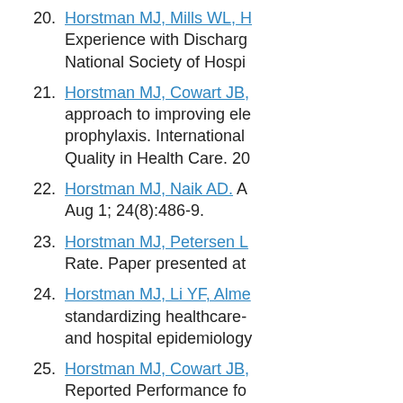20. Horstman MJ, Mills WL, H... Experience with Discharge... National Society of Hospi...
21. Horstman MJ, Cowart JB,... approach to improving ele... prophylaxis. International... Quality in Health Care. 20...
22. Horstman MJ, Naik AD. A... Aug 1; 24(8):486-9.
23. Horstman MJ, Petersen L... Rate. Paper presented at...
24. Horstman MJ, Li YF, Alme... standardizing healthcare-... and hospital epidemiology...
25. Horstman MJ, Cowart JB,... Reported Performance fo... Annual Meeting; 2015 Ma...
26. Horstman MJ, Stewart DE... every word count. Circula...